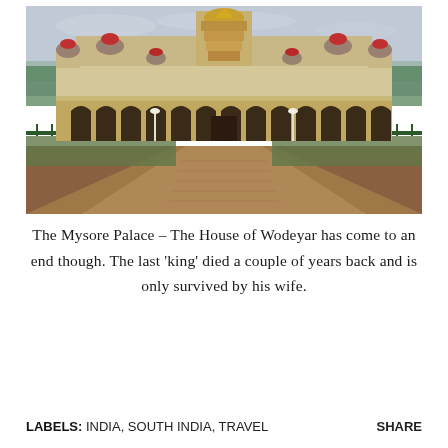[Figure (photo): Photograph of the Mysore Palace (House of Wodeyar), a grand Indo-Saracenic style palace with multiple domes topped with red finials, arched colonnades, and a central golden tower, with a wide red-brick pathway leading to the entrance, green fencing on both sides, and trees in the background under a cloudy sky.]
The Mysore Palace – The House of Wodeyar has come to an end though. The last 'king' died a couple of years back and is only survived by his wife.
LABELS: INDIA, SOUTH INDIA, TRAVEL    SHARE